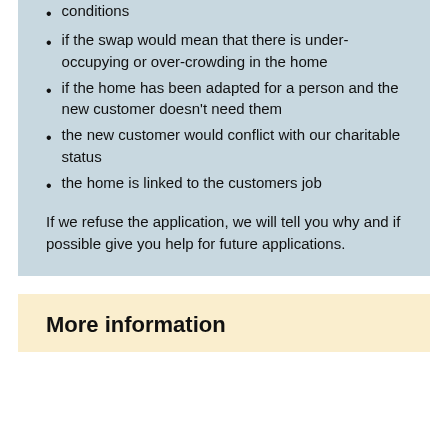conditions
if the swap would mean that there is under-occupying or over-crowding in the home
if the home has been adapted for a person and the new customer doesn't need them
the new customer would conflict with our charitable status
the home is linked to the customers job
If we refuse the application, we will tell you why and if possible give you help for future applications.
More information